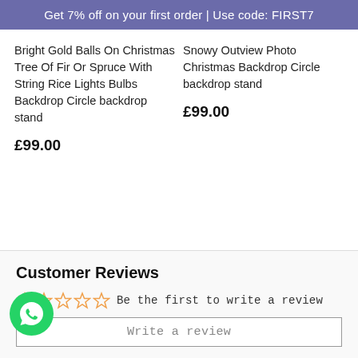Get 7% off on your first order | Use code: FIRST7
Bright Gold Balls On Christmas Tree Of Fir Or Spruce With String Rice Lights Bulbs Backdrop Circle backdrop stand
£99.00
Snowy Outview Photo Christmas Backdrop Circle backdrop stand
£99.00
Customer Reviews
Be the first to write a review
Write a review